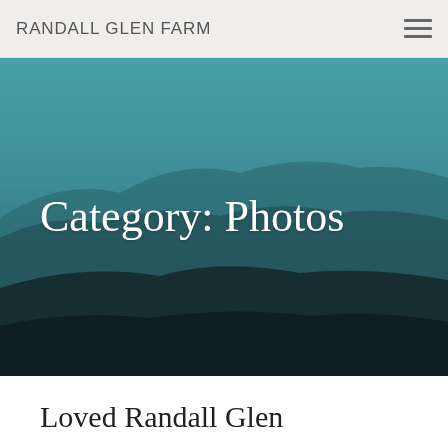RANDALL GLEN FARM
[Figure (photo): Landscape photo of mountain ridges with teal/blue sky, dark silhouetted hills in foreground, serving as hero banner background]
Category: Photos
Loved Randall Glen